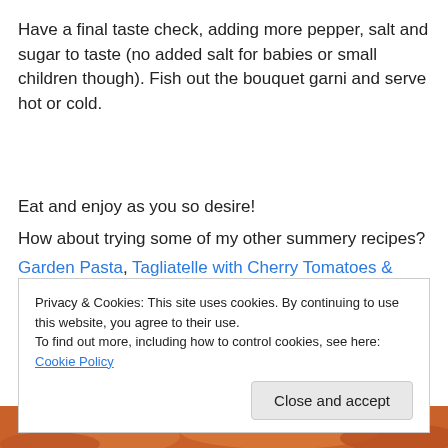Have a final taste check, adding more pepper, salt and sugar to taste (no added salt for babies or small children though). Fish out the bouquet garni and serve hot or cold.
Eat and enjoy as you so desire!
How about trying some of my other summery recipes?
Garden Pasta, Tagliatelle with Cherry Tomatoes &
Privacy & Cookies: This site uses cookies. By continuing to use this website, you agree to their use.
To find out more, including how to control cookies, see here: Cookie Policy
[Figure (photo): Partial view of a food dish at the bottom of the page]